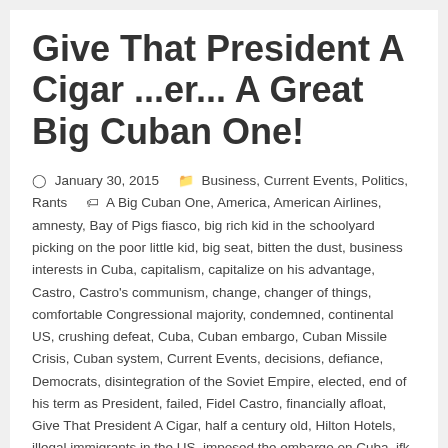Give That President A Cigar ...er... A Great Big Cuban One!
January 30, 2015   Business, Current Events, Politics, Rants   A Big Cuban One, America, American Airlines, amnesty, Bay of Pigs fiasco, big rich kid in the schoolyard picking on the poor little kid, big seat, bitten the dust, business interests in Cuba, capitalism, capitalize on his advantage, Castro, Castro's communism, change, changer of things, comfortable Congressional majority, condemned, continental US, crushing defeat, Cuba, Cuban embargo, Cuban Missile Crisis, Cuban system, Current Events, decisions, defiance, Democrats, disintegration of the Soviet Empire, elected, end of his term as President, failed, Fidel Castro, financially afloat, Give That President A Cigar, half a century old, Hilton Hotels, illegal immigrants in the US, imposed the embargo on Cuba, jfk, left to its own devices